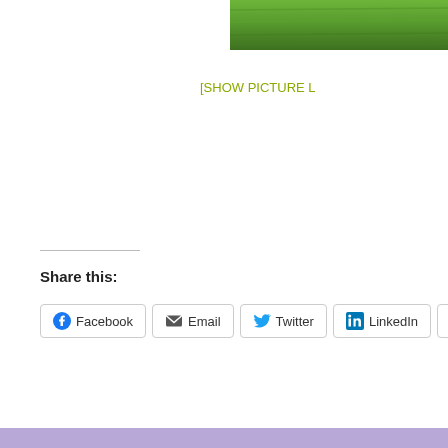[Figure (photo): Partial photo of green grass field at the top right of page]
[SHOW PICTURE L
Share this:
Facebook  Email  Twitter  LinkedIn  Pinterest 2
•
Privacy & Cookies: This site uses cookies. By continuing to use this website, you agree to their use.
To find out more, including how to control cookies, see here: Cookie Policy
Close and accept